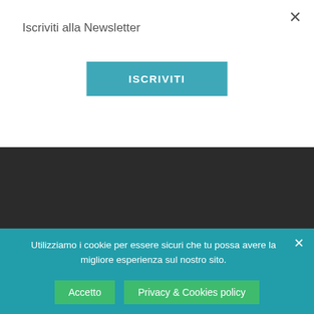Iscriviti alla Newsletter
ISCRIVITI
Previous Post
Yom Haazmaut e osservanza. Non sempre binari paralleli
Utilizziamo i cookie per essere sicuri che tu possa avere la migliore esperienza sul nostro sito.
Accetto
Privacy & Cookies policy